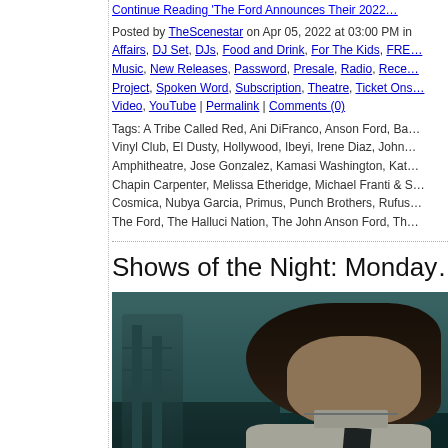Continue Reading 'The Ford Announces Their 2022…'
Posted by TheScenestar on Apr 05, 2022 at 03:00 PM in Affairs, DJ Set, DJs, Food and Drink, For The Kids, FRE… Music, New Releases, Password, Presale, Radio, Rece… Project, Spoken Word, Subscription, Theatre, Ticket Ons… Video, YouTube | Permalink | Comments (0)
Tags: A Tribe Called Red, Ani DiFranco, Anson Ford, Ba… Vinyl Club, El Dusty, Hollywood, Ibeyi, Irene Diaz, John… Amphitheatre, Jose Gonzalez, Kamasi Washington, Kat… Chapin Carpenter, Melissa Etheridge, Michael Franti & S… Cosmica, Nubya Garcia, Primus, Punch Brothers, Rufus… The Ford, The Halluci Nation, The John Anson Ford, Th…
Shows of the Night: Monday…
[Figure (photo): A dark atmospheric photo of a young woman with long dark hair wearing a white shirt and black tie, in a dimly lit room with shelves or architectural elements in the background.]